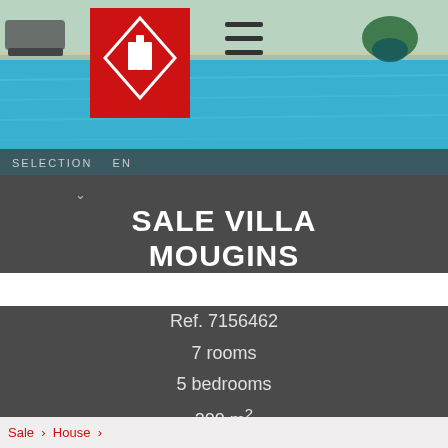[Figure (photo): Outdoor swimming pool with blue water, lounge chairs and tropical plants, with a real estate agency logo overlay (red diamond with white pillars) and a hamburger menu icon]
SELECTION   EN
SALE VILLA MOUGINS
Ref. 7156462
7 rooms
5 bedrooms
200 m²
€ 1,450,000
Sale > House >